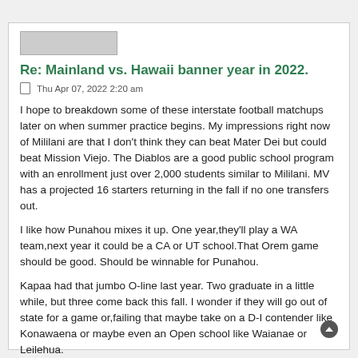[Figure (photo): Small thumbnail image at top of forum post]
Re: Mainland vs. Hawaii banner year in 2022.
Thu Apr 07, 2022 2:20 am
I hope to breakdown some of these interstate football matchups later on when summer practice begins. My impressions right now of Mililani are that I don't think they can beat Mater Dei but could beat Mission Viejo. The Diablos are a good public school program with an enrollment just over 2,000 students similar to Mililani. MV has a projected 16 starters returning in the fall if no one transfers out.
I like how Punahou mixes it up. One year,they'll play a WA team,next year it could be a CA or UT school.That Orem game should be good. Should be winnable for Punahou.
Kapaa had that jumbo O-line last year. Two graduate in a little while, but three come back this fall. I wonder if they will go out of state for a game or,failing that maybe take on a D-I contender like Konawaena or maybe even an Open school like Waianae or Leilehua.